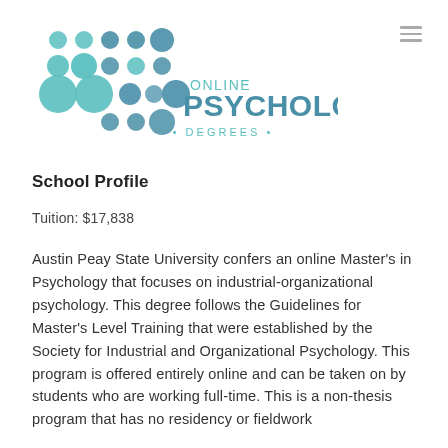[Figure (logo): Online Psychology Degrees logo with teal and blue circular dot pattern on the left and text 'ONLINE PSYCHOLOGY DEGREES' on the right]
School Profile
Tuition: $17,838
Austin Peay State University confers an online Master's in Psychology that focuses on industrial-organizational psychology. This degree follows the Guidelines for Master's Level Training that were established by the Society for Industrial and Organizational Psychology. This program is offered entirely online and can be taken on by students who are working full-time. This is a non-thesis program that has no residency or fieldwork